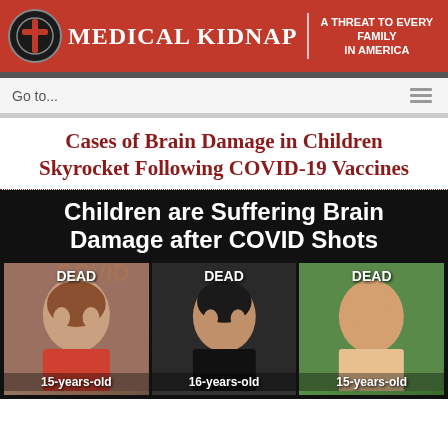MEDICAL KIDNAP | A THREAT TO EVERY FAMILY IN AMERICA
Go to...
Cases of Brain Damage in Children Skyrocket Following COVID-19 Vaccines
[Figure (infographic): Black background infographic showing text 'Children are Suffering Brain Damage after COVID Shots' with three photos of young people each labeled DEAD: 15-years-old, 16-years-old, 15-years-old]